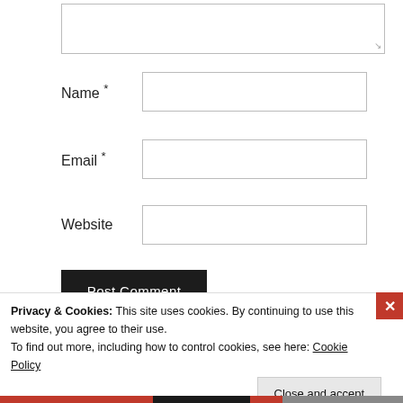[Figure (screenshot): A WordPress comment form showing a resizable textarea at top, followed by Name, Email, and Website input fields with asterisks on required fields, and a black Post Comment button.]
Name *
Email *
Website
Post Comment
Privacy & Cookies: This site uses cookies. By continuing to use this website, you agree to their use.
To find out more, including how to control cookies, see here: Cookie Policy
Close and accept